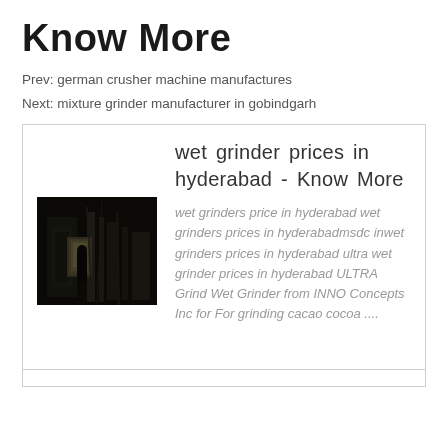Know More
Prev: german crusher machine manufactures
Next: mixture grinder manufacturer in gobindgarh
wet grinder prices in hyderabad - Know More
wet grinders price in hyderabad wet grinders prices in hyderabadmsdc inwet grinders prices in hyderabad ultra wet grinder prices in hyderabad ULTRA Grind Wet Grinder from INNO Concepts Inc for For grinding cacao cocoa ....
[Figure (photo): Dark industrial machinery photo, showing equipment in a dimly lit factory or workshop setting]